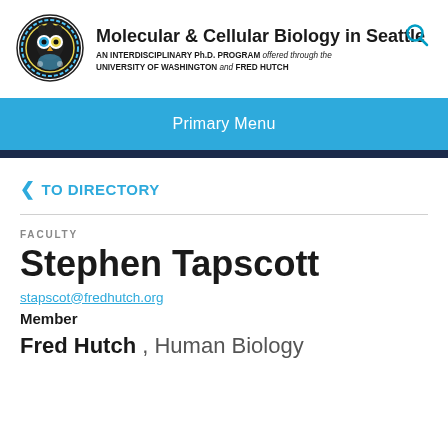[Figure (logo): Molecular & Cellular Biology in Seattle circular logo with decorative pattern]
Molecular & Cellular Biology in Seattle
AN INTERDISCIPLINARY Ph.D. PROGRAM offered through the UNIVERSITY OF WASHINGTON and FRED HUTCH
Primary Menu
< TO DIRECTORY
FACULTY
Stephen Tapscott
stapscot@fredhutch.org
Member
Fred Hutch , Human Biology